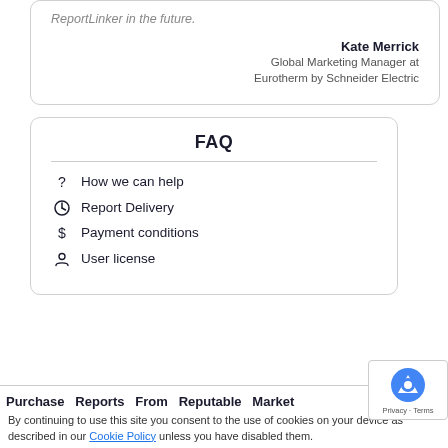ReportLinker in the future.
Kate Merrick
Global Marketing Manager at Eurotherm by Schneider Electric
FAQ
How we can help
Report Delivery
Payment conditions
User license
Purchase  Reports  From  Reputable  Market
By continuing to use this site you consent to the use of cookies on your device as described in our Cookie Policy unless you have disabled them.